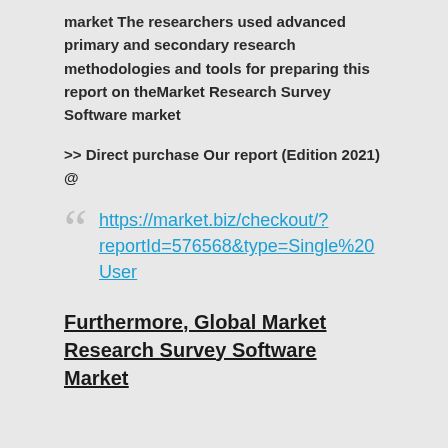market  The researchers used advanced primary and secondary research methodologies and tools for preparing this report on theMarket Research Survey Software market
>> Direct purchase Our report (Edition 2021) @
https://market.biz/checkout/?reportId=576568&type=Single%20User
Furthermore, Global Market Research Survey Software Market